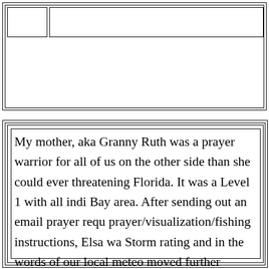My mother, aka Granny Ruth was a prayer warrior for all of us on the other side than she could ever threatening Florida. It was a Level 1 with all indi Bay area. After sending out an email prayer requ prayer/visualization/fishing instructions, Elsa wa Storm rating and in the words of our local meteo moved further offshore and is starting to shear ap
Now we're safely on the other side of it and we'r